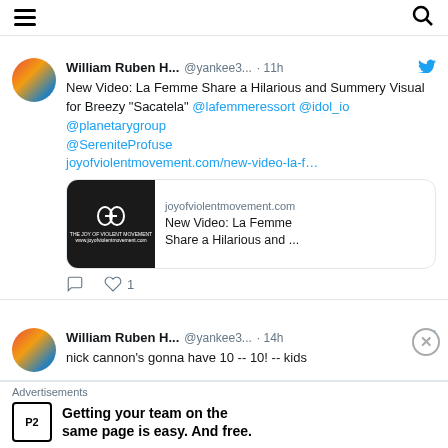Navigation header with hamburger menu and search icon
William Ruben H... @yankee3... · 11h
New Video: La Femme Share a Hilarious and Summery Visual for Breezy "Sacatela" @lafemmeressort @idol_io @planetarygroup @SereniteProfuse joyofviolentmovement.com/new-video-la-f…
[Figure (screenshot): Link preview card for joyofviolentmovement.com showing site logo and article title 'New Video: La Femme Share a Hilarious and ...']
1 like
William Ruben H... @yankee3... · 14h
nick cannon's gonna have 10 -- 10! -- kids
Advertisements
Getting your team on the same page is easy. And free.